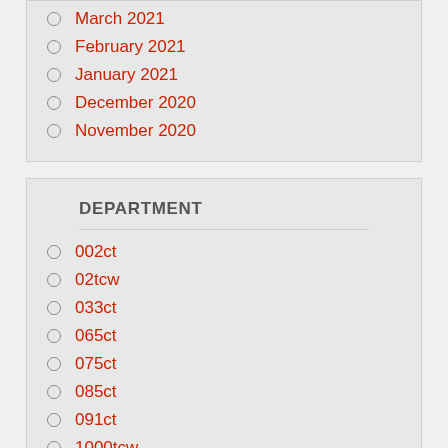March 2021
February 2021
January 2021
December 2020
November 2020
DEPARTMENT
002ct
02tcw
033ct
065ct
075ct
085ct
091ct
1000tcw